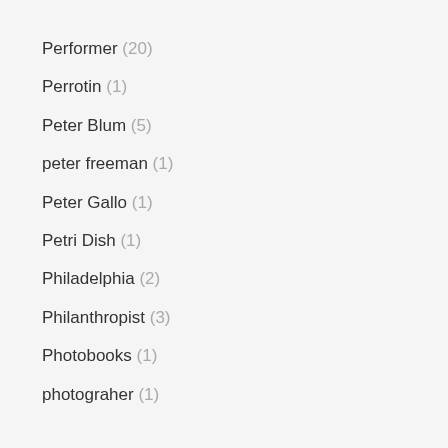Performer (20)
Perrotin (1)
Peter Blum (5)
peter freeman (1)
Peter Gallo (1)
Petri Dish (1)
Philadelphia (2)
Philanthropist (3)
Photobooks (1)
photograher (1)